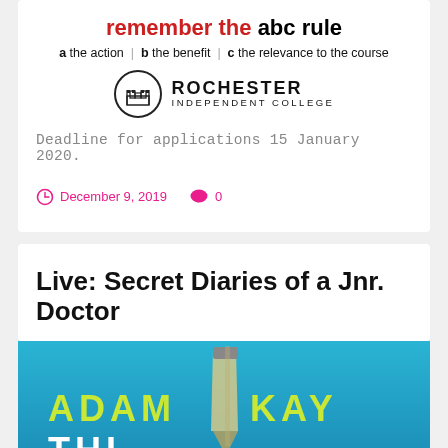remember the abc rule
a the action | b the benefit | c the relevance to the course
[Figure (logo): Rochester Independent College logo: circular emblem with castle/building icon, text ROCHESTER INDEPENDENT COLLEGE]
Deadline for applications 15 January 2020.
December 9, 2019   0
Live: Secret Diaries of a Jnr. Doctor
[Figure (photo): Book cover for Adam Kay - appears to show the book 'This Is Going to Hurt' with 'ADAM KAY' in yellow/lime letters and 'THI' visible at bottom on a teal/blue background]